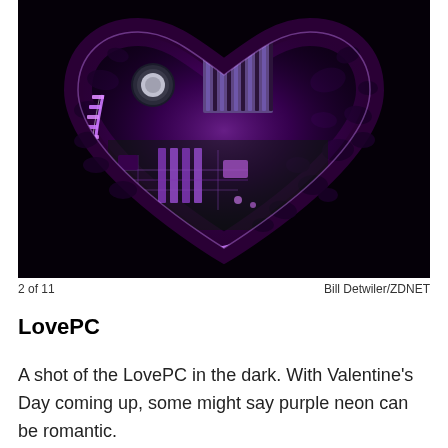[Figure (photo): A heart-shaped object filled with glowing purple neon PC components — motherboard, RAM, heat sink — set against a dark black background. The heart shape is decorated with a leopard-print black and purple pattern on the outside. Purple LED lighting illuminates the internal PC hardware.]
2 of 11    Bill Detwiler/ZDNET
LovePC
A shot of the LovePC in the dark. With Valentine's Day coming up, some might say purple neon can be romantic.